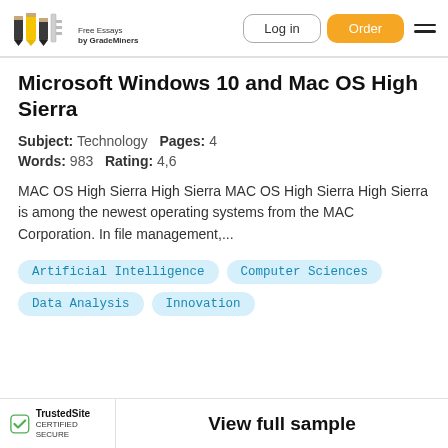Free Essays by GradeMiners | Log in | Order
Microsoft Windows 10 and Mac OS High Sierra
Subject: Technology   Pages: 4
Words: 983   Rating: 4,6
MAC OS High Sierra High Sierra MAC OS High Sierra High Sierra is among the newest operating systems from the MAC Corporation. In file management,...
Artificial Intelligence
Computer Sciences
Data Analysis
Innovation
TrustedSite CERTIFIED SECURE   View full sample